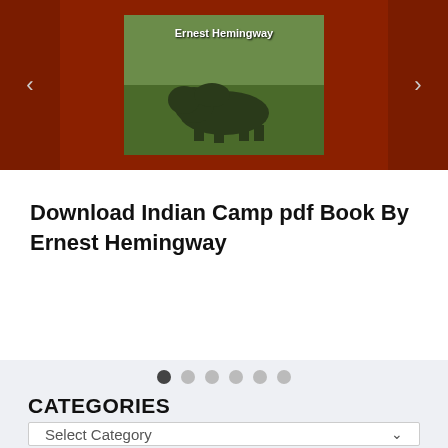[Figure (screenshot): Book slider section with dark red background, left and right navigation arrows, and a book cover image for 'Indian Camp' by Ernest Hemingway showing a nature/wildlife scene.]
Download Indian Camp pdf Book By Ernest Hemingway
[Figure (other): Carousel navigation dots — 6 dots, first one dark/active, remaining 5 light grey/inactive]
CATEGORIES
Select Category